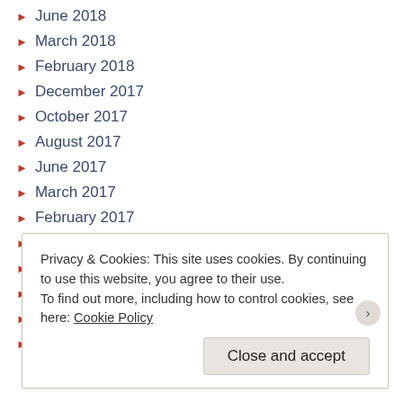June 2018
March 2018
February 2018
December 2017
October 2017
August 2017
June 2017
March 2017
February 2017
December 2016
October 2016
September 2016
August 2016
June 2016
Privacy & Cookies: This site uses cookies. By continuing to use this website, you agree to their use.
To find out more, including how to control cookies, see here: Cookie Policy
Close and accept